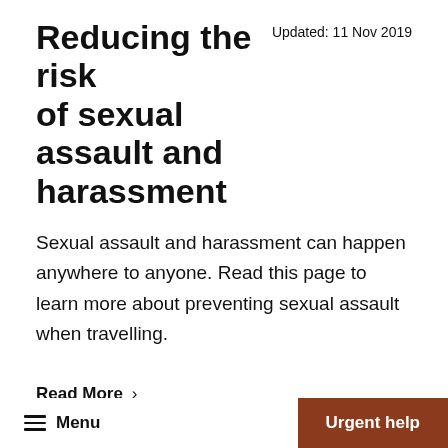Reducing the risk of sexual assault and harassment
Updated: 11 Nov 2019
Sexual assault and harassment can happen anywhere to anyone. Read this page to learn more about preventing sexual assault when travelling.
Read More >
Child sex offences
Updated: 11 Ma
Read more about the legislative protections designed to prevent child sex offences abroad.
Menu  |  Urgent help